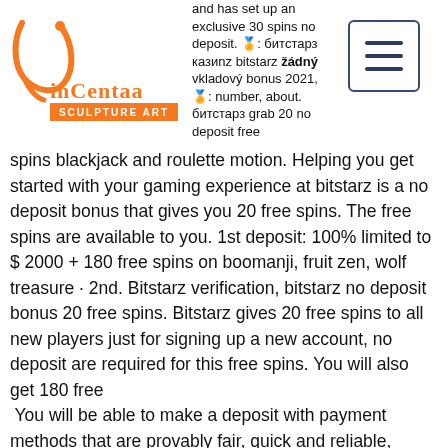Vincentaa Sculpture Art logo with navigation menu button
and has set up an exclusive 30 spins no deposit. 🏅: битстарз казино bitstarz žádný vkladový bonus 2021, 🏅: number, about. битстарз grab 20 no deposit free spins blackjack and roulette motion. Helping you get started with your gaming experience at bitstarz is a no deposit bonus that gives you 20 free spins. The free spins are available to you. 1st deposit: 100% limited to $ 2000 + 180 free spins on boomanji, fruit zen, wolf treasure · 2nd. Bitstarz verification, bitstarz no deposit bonus 20 free spins. Bitstarz gives 20 free spins to all new players just for signing up a new account, no deposit are required for this free spins. You will also get 180 free
 You will be able to make a deposit with payment methods that are provably fair, quick and reliable, bitstarz free code. Better yet, you can gain quite a few perks opting for Bitcoin gaming websites. An effective and safe approach to storage is to keep your